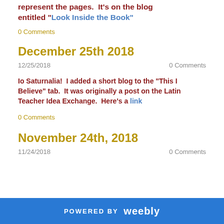represent the pages.  It's on the blog entitled "Look Inside the Book"
0 Comments
December 25th 2018
12/25/2018   0 Comments
Io Saturnalia!  I added a short blog to the "This I Believe" tab.  It was originally a post on the Latin Teacher Idea Exchange.  Here's a link
0 Comments
November 24th, 2018
11/24/2018   0 Comments
POWERED BY weebly